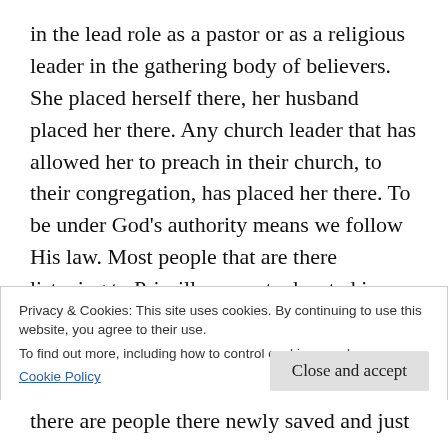in the lead role as a pastor or as a religious leader in the gathering body of believers. She placed herself there, her husband placed her there. Any church leader that has allowed her to preach in their church, to their congregation, has placed her there. To be under God's authority means we follow His law. Most people that are there listening to Priscilla are not educated in God's Word or they wouldn't be there. However, God does use bad situations and disobedient people and evil to
Privacy & Cookies: This site uses cookies. By continuing to use this website, you agree to their use.
To find out more, including how to control cookies, see here:
Cookie Policy
there are people there newly saved and just